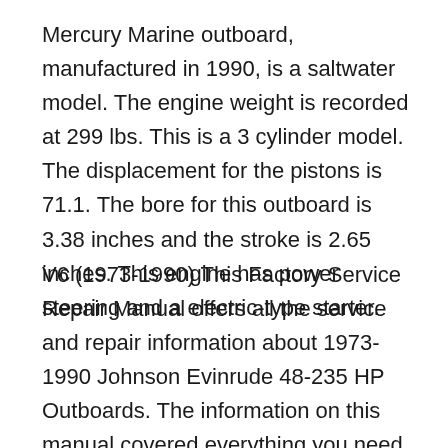Mercury Marine outboard, manufactured in 1990, is a saltwater model. The engine weight is recorded at 299 lbs. This is a 3 cylinder model. The displacement for the pistons is 71.1. The bore for this outboard is 3.38 inches and the stroke is 2.65 inches. This engine has power steering and a electric-type starter.
V6 (1973-1990) This Factory Service Repair Manual offers all the service and repair information about 1973-1990 Johnson Evinrude 48-235 HP Outboards. The information on this manual covered everything you need to know when you want to repair or service 1973-1990 Johnson Evinrude 48-235 HP Outboards. Manual Contents: QUICK REFERENCE DATA This 90